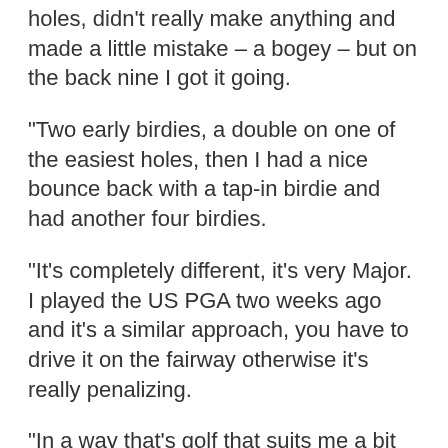holes, didn't really make anything and made a little mistake – a bogey – but on the back nine I got it going.
“Two early birdies, a double on one of the easiest holes, then I had a nice bounce back with a tap-in birdie and had another four birdies.
“It's completely different, it's very Major. I played the US PGA two weeks ago and it's a similar approach, you have to drive it on the fairway otherwise it's really penalizing.
“In a way that's golf that suits me a bit more, I tend to struggle on easy courses where you’re forced to make birdies otherwise you’re losing ground and it’s a completely different approach on this golf course.